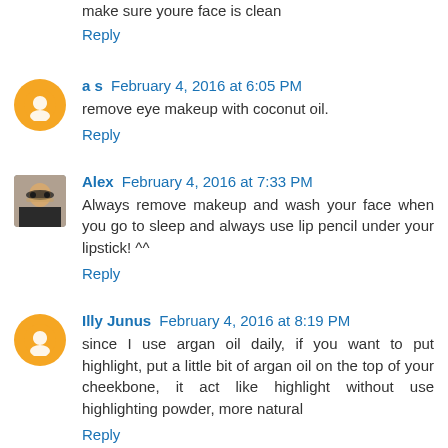make sure youre face is clean
Reply
a s  February 4, 2016 at 6:05 PM
remove eye makeup with coconut oil.
Reply
Alex  February 4, 2016 at 7:33 PM
Always remove makeup and wash your face when you go to sleep and always use lip pencil under your lipstick! ^^
Reply
Illy Junus  February 4, 2016 at 8:19 PM
since I use argan oil daily, if you want to put highlight, put a little bit of argan oil on the top of your cheekbone, it act like highlight without use highlighting powder, more natural
Reply